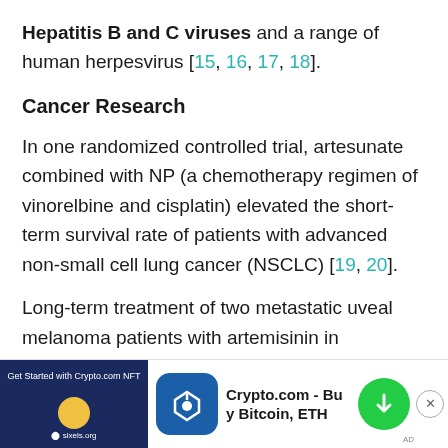Hepatitis B and C viruses and a range of human herpesvirus [15, 16, 17, 18].
Cancer Research
In one randomized controlled trial, artesunate combined with NP (a chemotherapy regimen of vinorelbine and cisplatin) elevated the short-term survival rate of patients with advanced non-small cell lung cancer (NSCLC) [19, 20].
Long-term treatment of two metastatic uveal melanoma patients with artemisinin in combination with standard chemotherapy showed a significant improvement [21].
Arteme... ving the quality ... n